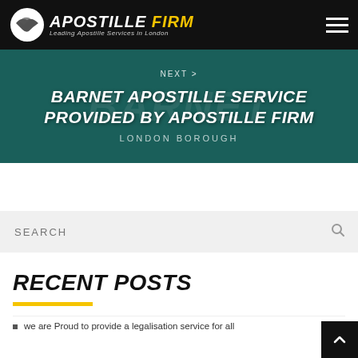APOSTILLE FIRM — Leading Apostille Services in London
[Figure (screenshot): Hero banner with teal background showing 'BARNET APOSTILLE SERVICE PROVIDED BY APOSTILLE FIRM — LONDON BOROUGH' with NEXT navigation]
SEARCH
RECENT POSTS
we are Proud to provide a legalisation service for all